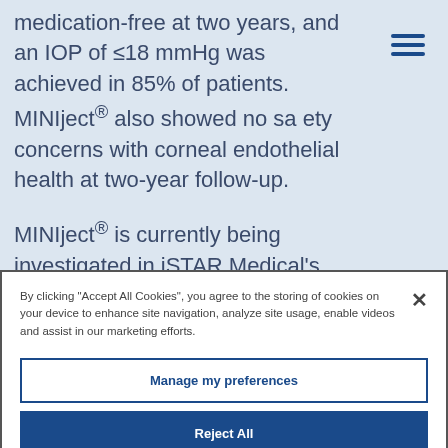medication-free at two years, and an IOP of ≤18 mmHg was achieved in 85% of patients. MINIject® also showed no safety concerns with corneal endothelial health at two-year follow-up.
MINIject® is currently being investigated in iSTAR Medical's pivotal US trial, STAR-
By clicking "Accept All Cookies", you agree to the storing of cookies on your device to enhance site navigation, analyze site usage, enable videos and assist in our marketing efforts.
Manage my preferences
Reject All